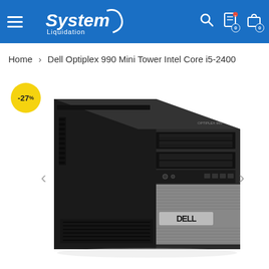System Liquidation — navigation header with hamburger menu, logo, search, cart icons
Home > Dell Optiplex 990 Mini Tower Intel Core i5-2400
[Figure (photo): Dell Optiplex 990 Mini Tower desktop computer, black tower case with silver Dell logo panel, shown at an angle. A yellow discount badge showing -27% is overlaid in the top left.]
-27%